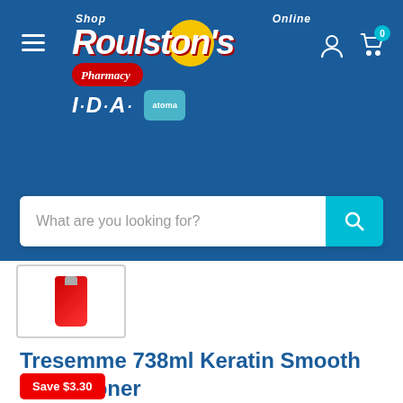[Figure (logo): Roulston's Pharmacy IDA online store header with logo, IDA branding, atoma badge, hamburger menu, user icon, cart icon, and search bar]
[Figure (photo): Small product thumbnail image of Tresemme Keratin Smooth Conditioner bottle in red]
Tresemme 738ml Keratin Smooth Conditioner
Save $3.30
Price: $4.99  $8.29